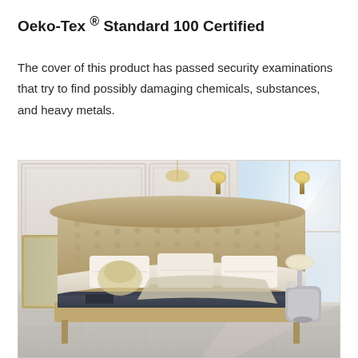Oeko-Tex ® Standard 100 Certified
The cover of this product has passed security examinations that try to find possibly damaging chemicals, substances, and heavy metals.
[Figure (photo): A luxury bedroom interior with a large tufted beige upholstered bed with white bedding, a decorative mirror, white walls with ornate molding, large windows with bright light, and a dark gray mattress visible at the foot of the bed.]